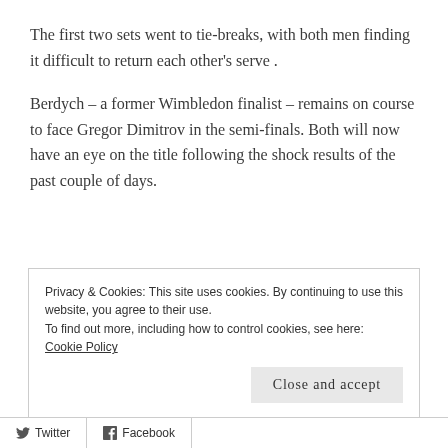The first two sets went to tie-breaks, with both men finding it difficult to return each other's serve .
Berdych – a former Wimbledon finalist – remains on course to face Gregor Dimitrov in the semi-finals. Both will now have an eye on the title following the shock results of the past couple of days.
Privacy & Cookies: This site uses cookies. By continuing to use this website, you agree to their use.
To find out more, including how to control cookies, see here: Cookie Policy
Close and accept
Twitter  Facebook